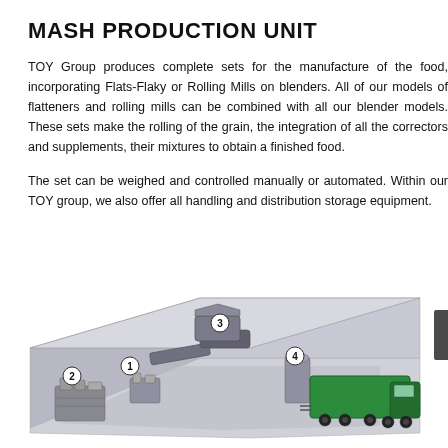MASH PRODUCTION UNIT
TOY Group produces complete sets for the manufacture of the food, incorporating Flats-Flaky or Rolling Mills on blenders. All of our models of flatteners and rolling mills can be combined with all our blender models. These sets make the rolling of the grain, the integration of all the correctors and supplements, their mixtures to obtain a finished food.
The set can be weighed and controlled manually or automated. Within our TOY group, we also offer all handling and distribution storage equipment.
[Figure (engineering-diagram): Isometric diagram of a mash production unit facility showing numbered components (1, 2, 3, 4) inside a building outline with a green truck/trailer parked at a loading dock.]